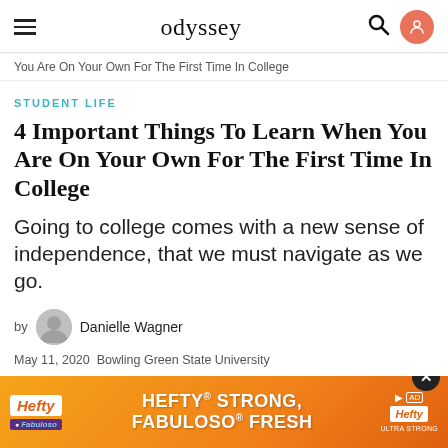odyssey
You Are On Your Own For The First Time In College
STUDENT LIFE
4 Important Things To Learn When You Are On Your Own For The First Time In College
Going to college comes with a new sense of independence, that we must navigate as we go.
by Danielle Wagner
May 11, 2020  Bowling Green State University
[Figure (other): Advertisement banner for Hefty and Fabuloso products: HEFTY STRONG, FABULOSO FRESH]